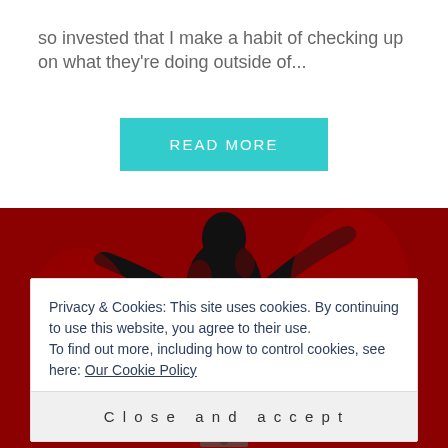so invested that I make a habit of checking up on what they're doing outside of...
[Figure (illustration): A silhouette of a person in a dynamic pose against a dark red background, rendered in high contrast black and red tones.]
Privacy & Cookies: This site uses cookies. By continuing to use this website, you agree to their use.
To find out more, including how to control cookies, see here: Our Cookie Policy
Close and accept